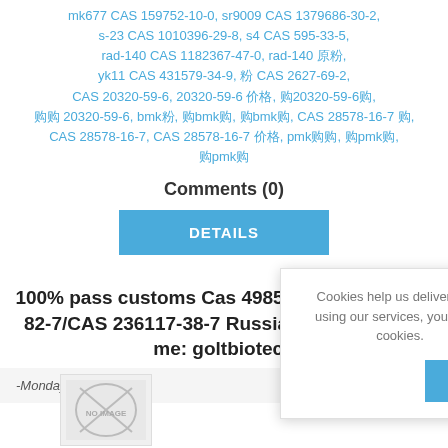mk677 CAS 159752-10-0, sr9009 CAS 1379686-30-2, s-23 CAS 1010396-29-8, s4 CAS 595-33-5, rad-140 CAS 1182367-47-0, rad-140 原粉, yk11 CAS 431579-34-9, 粉 CAS 2627-69-2, CAS 20320-59-6, 20320-59-6 价格, 购20320-59-6购, 购购 20320-59-6, bmk粉, 购bmk购, 购bmk购, CAS 28578-16-7 购, CAS 28578-16-7, CAS 28578-16-7 价格, pmk购购, 购pmk购, 购pmk购
Comments (0)
DETAILS
100% pass customs Cas 49851-31-2/Cas 1451-82-7/CAS 236117-38-7 Russia Hot sale Wickr me: goltbiotech
-Monday, December...
[Figure (other): No image placeholder]
Cookies help us deliver our s... using our services, you agree... cookies.